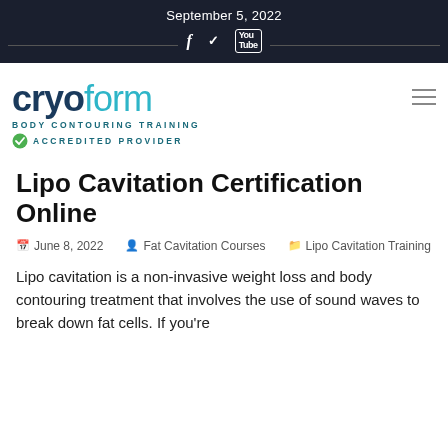September 5, 2022
[Figure (logo): Cryoform Body Contouring Training Accredited Provider logo with teal and dark blue text]
Lipo Cavitation Certification Online
June 8, 2022  Fat Cavitation Courses  Lipo Cavitation Training
Lipo cavitation is a non-invasive weight loss and body contouring treatment that involves the use of sound waves to break down fat cells. If you're